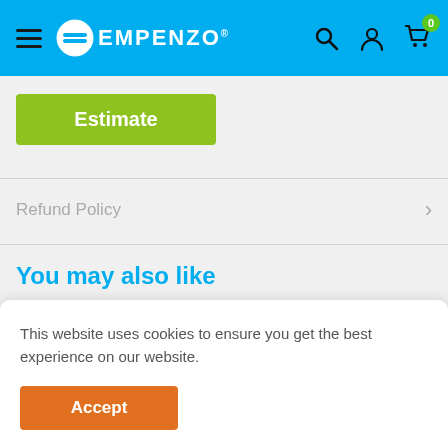EMPENZO
Estimate
Refund Policy
You may also like
This website uses cookies to ensure you get the best experience on our website.
Accept